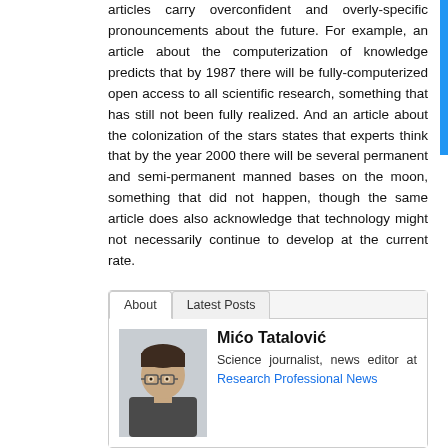articles carry overconfident and overly-specific pronouncements about the future. For example, an article about the computerization of knowledge predicts that by 1987 there will be fully-computerized open access to all scientific research, something that has still not been fully realized. And an article about the colonization of the stars states that experts think that by the year 2000 there will be several permanent and semi-permanent manned bases on the moon, something that did not happen, though the same article does also acknowledge that technology might not necessarily continue to develop at the current rate.
[Figure (photo): Author photo of Mico Tatalovic]
Mićo Tatalović
Science journalist, news editor at Research Professional News